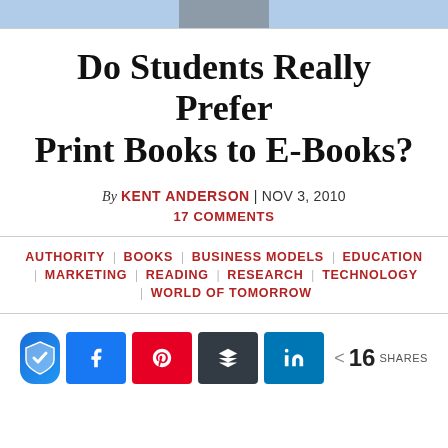[Figure (photo): Top image strip showing partial photo banner with blue/grey tones]
Do Students Really Prefer Print Books to E-Books?
By KENT ANDERSON | NOV 3, 2010
17 COMMENTS
AUTHORITY | BOOKS | BUSINESS MODELS | EDUCATION | MARKETING | READING | RESEARCH | TECHNOLOGY | WORLD OF TOMORROW
[Figure (infographic): Social share buttons: shield/security icon, Facebook, Pinterest, Buffer, LinkedIn, share count 16 SHARES]